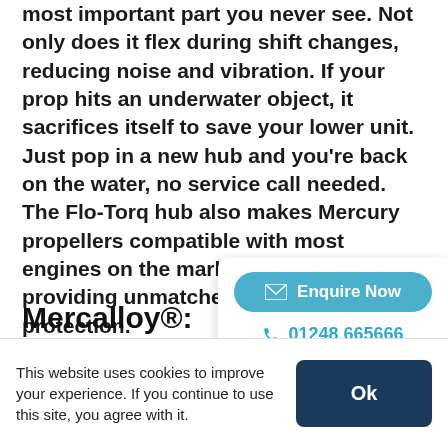Mercury Flo-Torq propeller hub might just be the most important part you never see. Not only does it flex during shift changes, reducing noise and vibration. If your prop hits an underwater object, it sacrifices itself to save your lower unit. Just pop in a new hub and you're back on the water, no service call needed. The Flo-Torq hub also makes Mercury propellers compatible with most engines on the market while also providing unmatched corrosion protection.
[Figure (other): Enquire Now button and phone number 01248 665666 in a floating card]
Mercalloy®:
Patented Performance
This website uses cookies to improve your experience. If you continue to use this site, you agree with it.